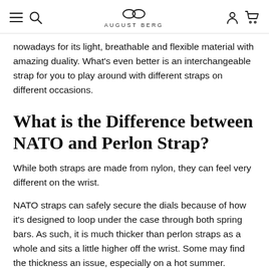AUGUST BERG
nowadays for its light, breathable and flexible material with amazing duality. What's even better is an interchangeable strap for you to play around with different straps on different occasions.
What is the Difference between NATO and Perlon Strap?
While both straps are made from nylon, they can feel very different on the wrist.
NATO straps can safely secure the dials because of how it's designed to loop under the case through both spring bars. As such, it is much thicker than perlon straps as a whole and sits a little higher off the wrist. Some may find the thickness an issue, especially on a hot summer. Therefore, people will either